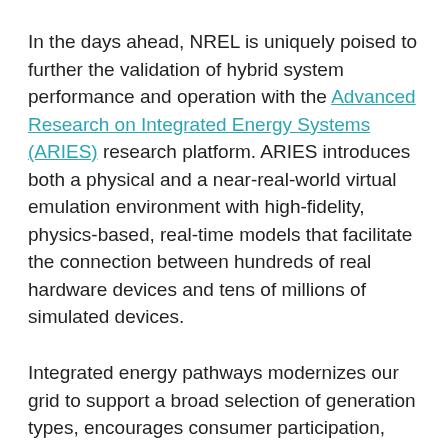In the days ahead, NREL is uniquely poised to further the validation of hybrid system performance and operation with the Advanced Research on Integrated Energy Systems (ARIES) research platform. ARIES introduces both a physical and a near-real-world virtual emulation environment with high-fidelity, physics-based, real-time models that facilitate the connection between hundreds of real hardware devices and tens of millions of simulated devices.
Integrated energy pathways modernizes our grid to support a broad selection of generation types, encourages consumer participation, and expands our options for transportation electrification.
Ultimately, advancing hybrid systems research at NREL and other national laboratories will require more